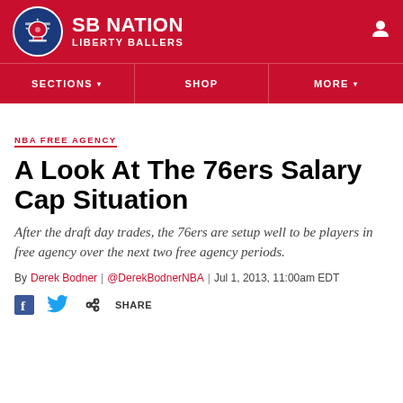[Figure (logo): SB Nation Liberty Ballers logo with red header and user icon]
NBA FREE AGENCY
A Look At The 76ers Salary Cap Situation
After the draft day trades, the 76ers are setup well to be players in free agency over the next two free agency periods.
By Derek Bodner | @DerekBodnerNBA | Jul 1, 2013, 11:00am EDT